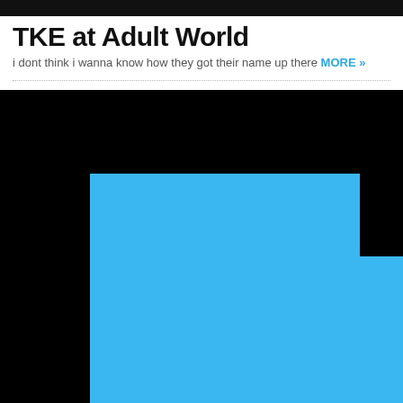TKE at Adult World
i dont think i wanna know how they got their name up there MORE »
[Figure (illustration): A stair-step shaped blue polygon on a black background, resembling a descending staircase shape going from upper-left to lower-right, filled with sky blue (#3bb8f0) on a black background.]